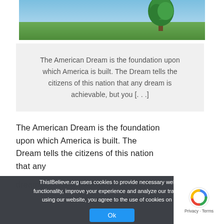[Figure (photo): Landscape photo showing a green field with trees under a blue sky with a large tree on the right side]
The American Dream is the foundation upon which America is built. The Dream tells the citizens of this nation that any dream is achievable, but you [...]
The American Dream is the foundation upon which America is built. The Dream tells the citizens of this nation that any dream is achievable, but you must be...
ThisIBelieve.org uses cookies to provide necessary website functionality, improve your experience and analyze our traffic. By using our website, you agree to the use of cookies on this site. Ok